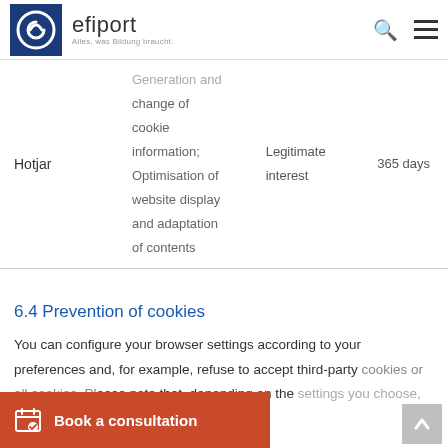efiport – Alles, was Bildung braucht.
|  |  | Legitimate interest | 365 days |
| --- | --- | --- | --- |
| Hotjar | Generation and change of cookie information; Optimisation of website display and adaptation of contents | Legitimate interest | 365 days |
6.4 Prevention of cookies
You can configure your browser settings according to your preferences and, for example, refuse to accept third-party cookies or all cookies. Please note that, depending on the settings you choose, the full functionality of the website
[Figure (other): Book a consultation CTA button (orange bar) with calendar icon]
[Figure (other): Scroll to top button (grey arrow)]